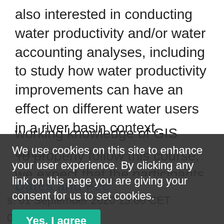also interested in conducting water productivity and/or water accounting analyses, including to study how water productivity improvements can have an effect on different water users in a river basin context.
To properly follow this course, we expect that the participants have a basic understanding of hydrology, irrigation agronomy, remote sensing, and working knowledge of GIS data.
We use cookies on this site to enhance your user experience. By clicking any link on this page you are giving your consent for us to set cookies.
Yes, I agree
No, I want to find out more
Dates and Fee
s: 01 September 2020 13:00 CET
020 13:00 CET
Module 1 week 1: 19 September 2020 - 9:00 CET